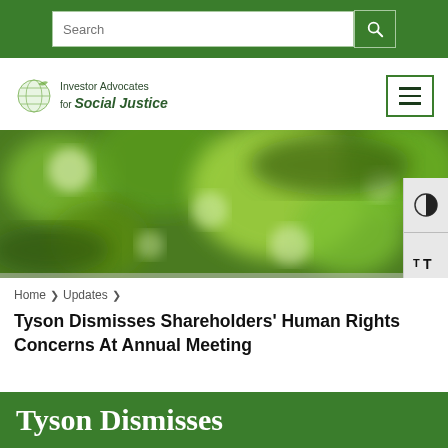Search bar with search button
[Figure (logo): Investor Advocates for Social Justice logo with globe graphic]
[Figure (photo): Blurred green foliage/leaves photo used as hero image]
[Figure (other): Accessibility contrast toggle button (half-circle icon) and text resize button (TT icon)]
Home > Updates >
Tyson Dismisses Shareholders' Human Rights Concerns At Annual Meeting
Tyson Dismisses